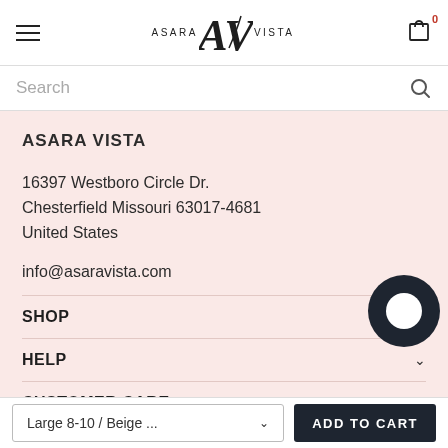ASARA VISTA — navigation header with logo and cart icon (0 items)
Search
ASARA VISTA
16397 Westboro Circle Dr.
Chesterfield Missouri 63017-4681
United States
info@asaravista.com
SHOP
HELP
CUSTOMER CARE
Large 8-10 / Beige ...
ADD TO CART